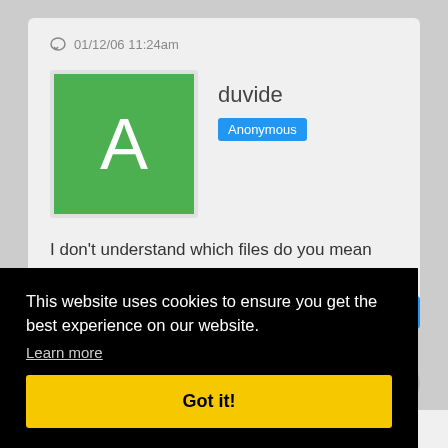01/12/06 11:24am
duvide
Anonymous
I don't understand which files do you mean now, the languages.php?
This website uses cookies to ensure you get the best experience on our website.
Learn more
Got it!
ote
samstone